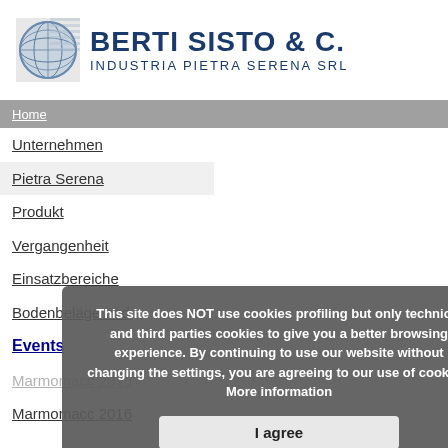[Figure (logo): Berti Sisto & C. Industria Pietra Serena SRL company logo with globe icon]
BERTI SISTO & C. INDUSTRIA PIETRA SERENA SRL
Home
Unternehmen
Pietra Serena
Produkt
Vergangenheit
Einsatzbereiche
Bodenbeläge und
Events
Marmomacc 2015
Marmomacc 2016
This site does NOT use cookies profiling but only technical and third parties cookies to give you a better browsing experience. By continuing to use our website without changing the settings, you are agreeing to our use of cookies. More information
I agree